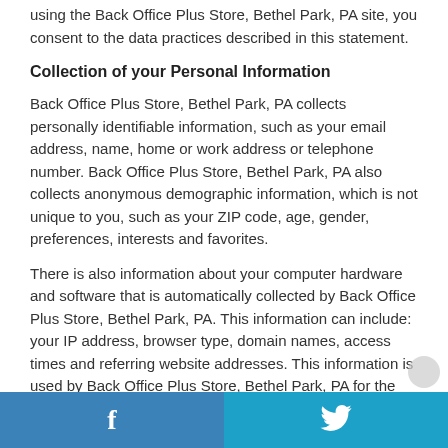using the Back Office Plus Store, Bethel Park, PA site, you consent to the data practices described in this statement.
Collection of your Personal Information
Back Office Plus Store, Bethel Park, PA collects personally identifiable information, such as your email address, name, home or work address or telephone number. Back Office Plus Store, Bethel Park, PA also collects anonymous demographic information, which is not unique to you, such as your ZIP code, age, gender, preferences, interests and favorites.
There is also information about your computer hardware and software that is automatically collected by Back Office Plus Store, Bethel Park, PA. This information can include: your IP address, browser type, domain names, access times and referring website addresses. This information is used by Back Office Plus Store, Bethel Park, PA for the operation of the service, to maintain quality of the service, and to provide general statistics regarding use of the Back Office Plus Store, Bethel Park, PA site.
Please keep in mind that if you directly disclose personally
Facebook | Twitter